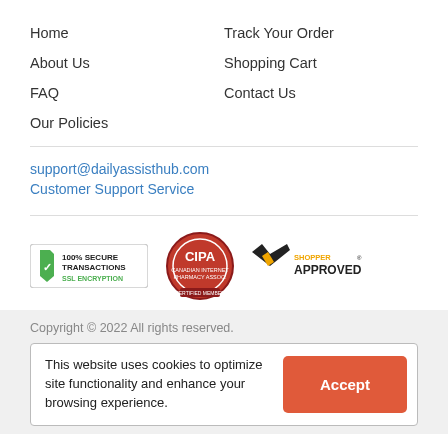Home
About Us
FAQ
Our Policies
Track Your Order
Shopping Cart
Contact Us
support@dailyassisthub.com
Customer Support Service
[Figure (logo): 100% Secure Transactions SSL Encryption badge with green checkmark]
[Figure (logo): CIPA (Canadian Internet Pharmacy Association) circular red badge]
[Figure (logo): Shopper Approved badge with yellow/dark logo]
Copyright © 2022 All rights reserved.
This website uses cookies to optimize site functionality and enhance your browsing experience.